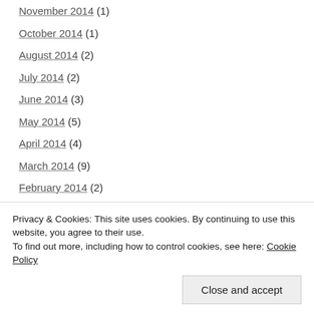November 2014 (1)
October 2014 (1)
August 2014 (2)
July 2014 (2)
June 2014 (3)
May 2014 (5)
April 2014 (4)
March 2014 (9)
February 2014 (2)
January 2014 (5)
December 2013 (4)
November 2013 (7)
September 2013 (4)
Privacy & Cookies: This site uses cookies. By continuing to use this website, you agree to their use.
To find out more, including how to control cookies, see here: Cookie Policy
Close and accept